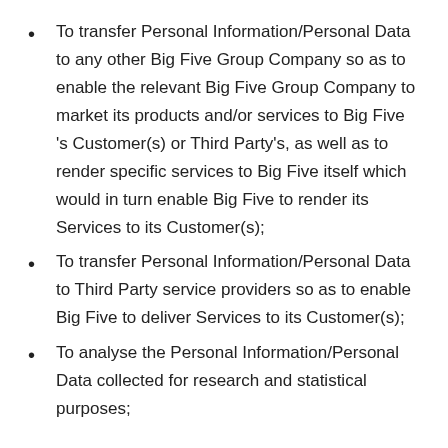To transfer Personal Information/Personal Data to any other Big Five Group Company so as to enable the relevant Big Five Group Company to market its products and/or services to Big Five 's Customer(s) or Third Party's, as well as to render specific services to Big Five itself which would in turn enable Big Five to render its Services to its Customer(s);
To transfer Personal Information/Personal Data to Third Party service providers so as to enable Big Five to deliver Services to its Customer(s);
To analyse the Personal Information/Personal Data collected for research and statistical purposes;